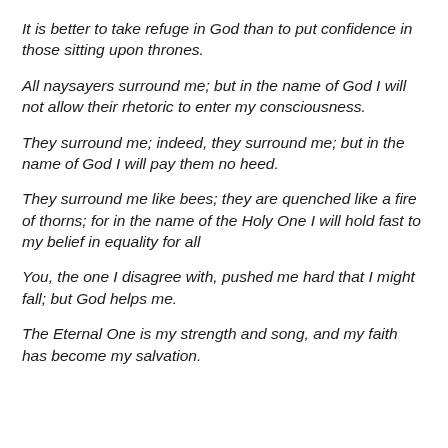It is better to take refuge in God than to put confidence in those sitting upon thrones.
All naysayers surround me; but in the name of God I will not allow their rhetoric to enter my consciousness.
They surround me; indeed, they surround me; but in the name of God I will pay them no heed.
They surround me like bees; they are quenched like a fire of thorns; for in the name of the Holy One I will hold fast to my belief in equality for all
You, the one I disagree with, pushed me hard that I might fall; but God helps me.
The Eternal One is my strength and song, and my faith has become my salvation.